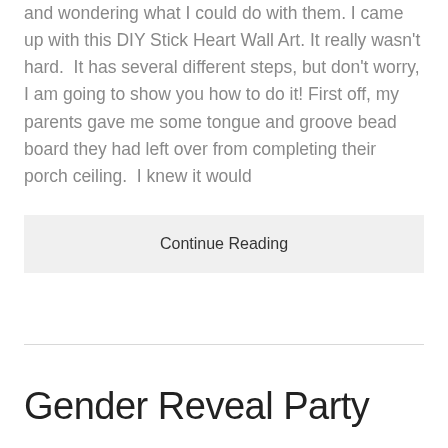and wondering what I could do with them. I came up with this DIY Stick Heart Wall Art. It really wasn't hard.  It has several different steps, but don't worry, I am going to show you how to do it! First off, my parents gave me some tongue and groove bead board they had left over from completing their porch ceiling.  I knew it would
Continue Reading
Gender Reveal Party